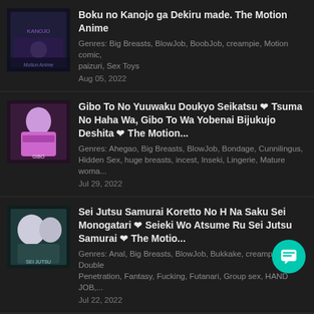Boku no Kanojo ga Dekiru made. The Motion Anime
Genres: Big Breasts, BlowJob, BoobJob, creampie, Motion comic, paizuri, Sex Toys
Aug 05, 2022
Gibo To No Yuuwaku Doukyo Seikatsu ❤ Tsuma No Haha Wa, Gibo To Wa Yobenai Bijukujo Deshita ❤ The Motion...
Genres: Ahegao, Big Breasts, BlowJob, Bondage, Cunnilingus, Hidden Sex, huge breasts, incest, Inseki, Lingerie, Mature woma...
Jul 29, 2022
Sei Jutsu Samurai Koretto No H Na Saku Sei Monogatari ❤ Seieki Wo Atsume Ru Sei Jutsu Samurai ❤ The Motio...
Genres: Anal, Big Breasts, BlowJob, Bukkake, creampie, Double Penetration, Fantasy, Fucking, Futanari, Group sex, HAND JOB,...
Jul 22, 2022
Hiroware Aishite Houshi Shitai ~Ajin Musume to Ichaero Seikatsu~ PLAY MOVIE
Genres: Big Breasts, BlowJob, Bukkake, creampie, Fucking...